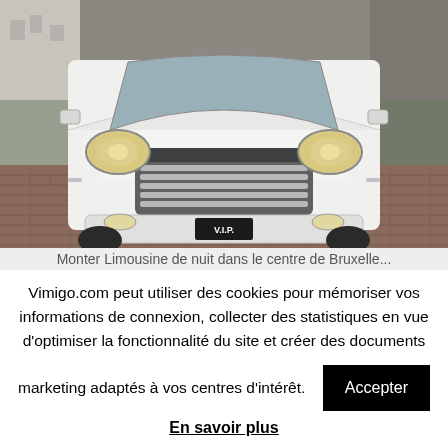[Figure (photo): Front view of a white GMC SUV (V.I.P. license plate) parked on a brick/cobblestone driveway with a building in the background.]
Monter Limousine de nuit dans le centre de Bruxelle...
Vimigo.com peut utiliser des cookies pour mémoriser vos informations de connexion, collecter des statistiques en vue d'optimiser la fonctionnalité du site et créer des documents marketing adaptés à vos centres d'intérêt.
Accepter
En savoir plus